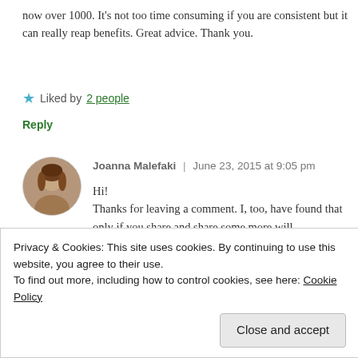now over 1000. It's not too time consuming if you are consistent but it can really reap benefits. Great advice. Thank you.
Liked by 2 people
Reply
[Figure (photo): Circular avatar photo of Joanna Malefaki, a woman with brown hair]
Joanna Malefaki | June 23, 2015 at 9:05 pm
Hi!
Thanks for leaving a comment. I, too, have found that only if you share and share some more will
Privacy & Cookies: This site uses cookies. By continuing to use this website, you agree to their use.
To find out more, including how to control cookies, see here: Cookie Policy
Close and accept